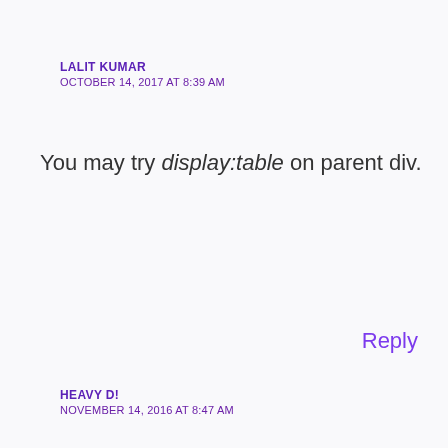LALIT KUMAR
OCTOBER 14, 2017 AT 8:39 AM
You may try display:table on parent div.
Reply
HEAVY D!
NOVEMBER 14, 2016 AT 8:47 AM